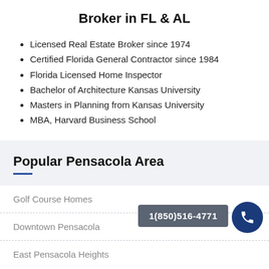Broker in FL & AL
Licensed Real Estate Broker since 1974
Certified Florida General Contractor since 1984
Florida Licensed Home Inspector
Bachelor of Architecture Kansas University
Masters in Planning from Kansas University
MBA, Harvard Business School
Popular Pensacola Area
Golf Course Homes
Downtown Pensacola
East Pensacola Heights